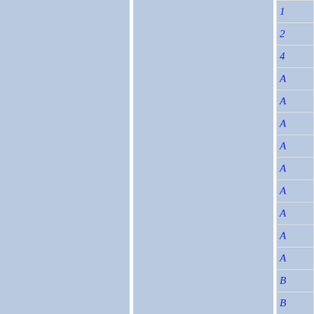[Figure (other): Page showing a blue-grey background with two blue-grey columns separated by a white vertical divider on the left side, and on the right edge a narrow column with a table listing items: 1, 2, 4, A, A, A, A, A, A, A, A, A, B, B, B, C — all in blue italic text on a blue-grey background with light grey borders between rows.]